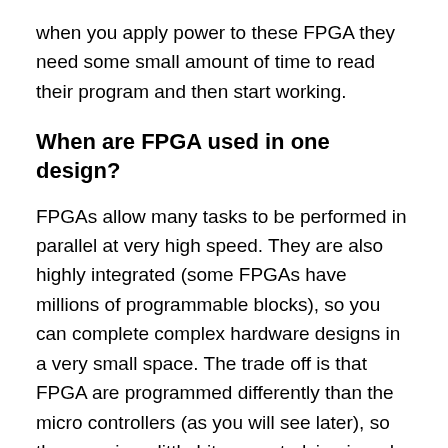when you apply power to these FPGA they need some small amount of time to read their program and then start working.
When are FPGA used in one design?
FPGAs allow many tasks to be performed in parallel at very high speed. They are also highly integrated (some FPGAs have millions of programmable blocks), so you can complete complex hardware designs in a very small space. The trade off is that FPGA are programmed differently than the micro controllers (as you will see later), so they require a little bit more studying in order to get used to them.
If you application requires high speed, and complex parallel tasks, you need FPGA. Typical applications are: